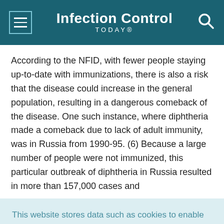Infection Control TODAY®
According to the NFID, with fewer people staying up-to-date with immunizations, there is also a risk that the disease could increase in the general population, resulting in a dangerous comeback of the disease. One such instance, where diphtheria made a comeback due to lack of adult immunity, was in Russia from 1990-95. (6) Because a large number of people were not immunized, this particular outbreak of diphtheria in Russia resulted in more than 157,000 cases and
This website stores data such as cookies to enable essential site functionality, as well as marketing, personalization, and analytics. Cookie Policy
Accept
Deny